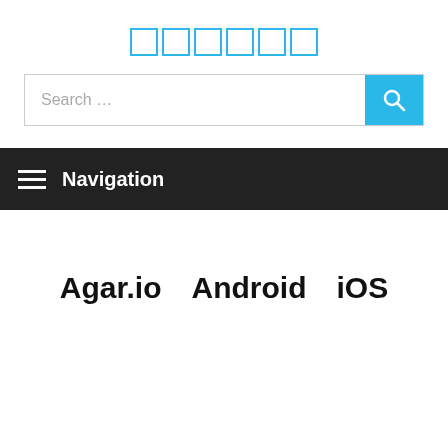██████
[Figure (screenshot): Search bar with cyan search button containing a magnifying glass icon]
Navigation
Agar.io　Android　iOS